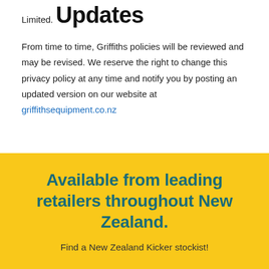Limited.
Updates
From time to time, Griffiths policies will be reviewed and may be revised. We reserve the right to change this privacy policy at any time and notify you by posting an updated version on our website at griffithsequipment.co.nz
Available from leading retailers throughout New Zealand.
Find a New Zealand Kicker stockist!